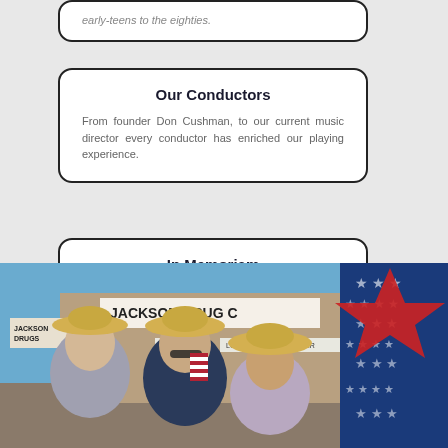early-teens to the eighties.
Our Conductors
From founder Don Cushman, to our current music director every conductor has enriched our playing experience.
In Memoriam
There is nothing in the world so much like prayer as music is.
[Figure (photo): Three women wearing straw cowboy hats smiling in front of Jackson Drug Co. store. American flags visible in background. Stars and stripes decorative element on right side.]